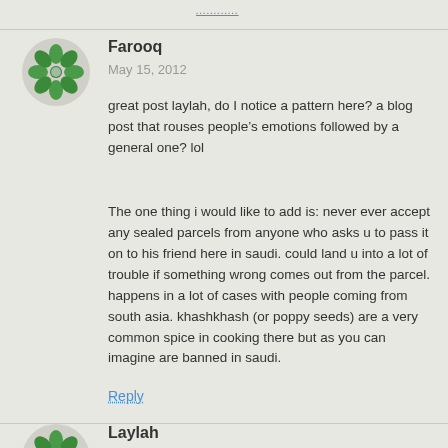............
Farooq
May 15, 2012
great post laylah, do I notice a pattern here? a blog post that rouses people’s emotions followed by a general one? lol
The one thing i would like to add is: never ever accept any sealed parcels from anyone who asks u to pass it on to his friend here in saudi. could land u into a lot of trouble if something wrong comes out from the parcel. happens in a lot of cases with people coming from south asia. khashkhash (or poppy seeds) are a very common spice in cooking there but as you can imagine are banned in saudi.
Reply
Laylah
May 15, 2012
Farooq-haha good one! Maybe I’m bipolar :)